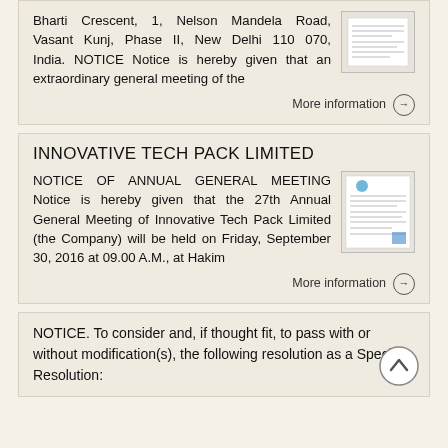Bharti Crescent, 1, Nelson Mandela Road, Vasant Kunj, Phase II, New Delhi 110 070, India. NOTICE Notice is hereby given that an extraordinary general meeting of the
More information →
INNOVATIVE TECH PACK LIMITED
NOTICE OF ANNUAL GENERAL MEETING Notice is hereby given that the 27th Annual General Meeting of Innovative Tech Pack Limited (the Company) will be held on Friday, September 30, 2016 at 09.00 A.M., at Hakim
More information →
NOTICE. To consider and, if thought fit, to pass with or without modification(s), the following resolution as a Special Resolution: